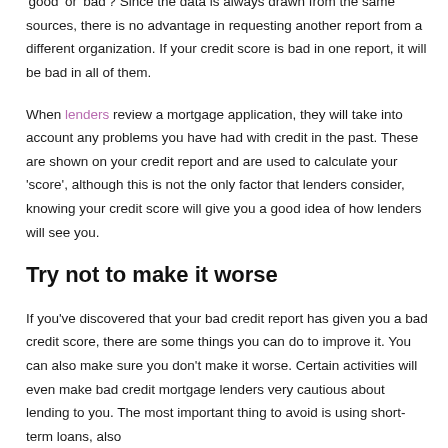'good' or 'bad'? Since the data is always drawn from the same sources, there is no advantage in requesting another report from a different organization. If your credit score is bad in one report, it will be bad in all of them.
When lenders review a mortgage application, they will take into account any problems you have had with credit in the past. These are shown on your credit report and are used to calculate your 'score', although this is not the only factor that lenders consider, knowing your credit score will give you a good idea of how lenders will see you.
Try not to make it worse
If you've discovered that your bad credit report has given you a bad credit score, there are some things you can do to improve it. You can also make sure you don't make it worse. Certain activities will even make bad credit mortgage lenders very cautious about lending to you. The most important thing to avoid is using short-term loans, also